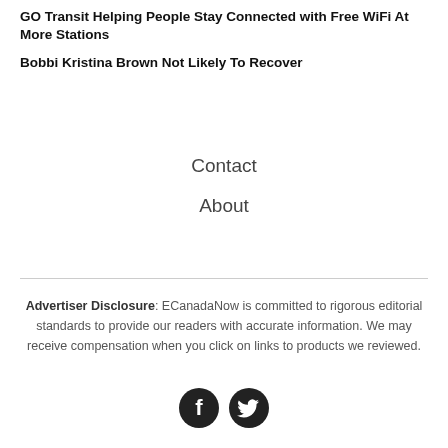GO Transit Helping People Stay Connected with Free WiFi At More Stations
Bobbi Kristina Brown Not Likely To Recover
Contact
About
Advertiser Disclosure: ECanadaNow is committed to rigorous editorial standards to provide our readers with accurate information. We may receive compensation when you click on links to products we reviewed.
[Figure (illustration): Facebook and Twitter social media icons as dark circular buttons]